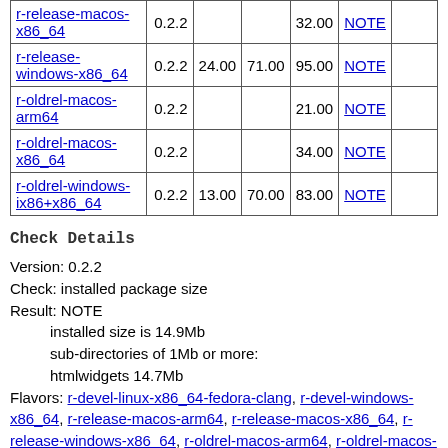| Flavor | Version |  |  | Size | Result |  |
| --- | --- | --- | --- | --- | --- | --- |
| r-release-macos-x86_64 | 0.2.2 |  |  | 32.00 | NOTE |  |
| r-release-windows-x86_64 | 0.2.2 | 24.00 | 71.00 | 95.00 | NOTE |  |
| r-oldrel-macos-arm64 | 0.2.2 |  |  | 21.00 | NOTE |  |
| r-oldrel-macos-x86_64 | 0.2.2 |  |  | 34.00 | NOTE |  |
| r-oldrel-windows-ix86+x86_64 | 0.2.2 | 13.00 | 70.00 | 83.00 | NOTE |  |
Check Details
Version: 0.2.2
Check: installed package size
Result: NOTE
    installed size is 14.9Mb
    sub-directories of 1Mb or more:
    htmlwidgets 14.7Mb
Flavors: r-devel-linux-x86_64-fedora-clang, r-devel-windows-x86_64, r-release-macos-arm64, r-release-macos-x86_64, r-release-windows-x86_64, r-oldrel-macos-arm64, r-oldrel-macos-x86_64, r-oldrel-windows-ix86+x86_64